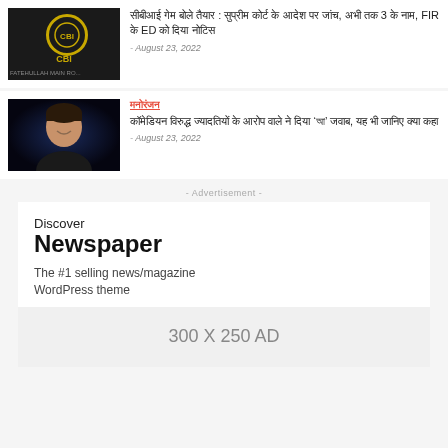[Figure (photo): CBI building sign with gold emblem on dark background]
सीबीआई गेम बोले तैयार : सुप्रीम कोर्ट के आदेश पर जांच, अभी तक 3 के नाम, FIR के ED को दिया नोटिस
- August 23, 2022
[Figure (photo): Young man smiling against dark blue background]
मनोरंजन
कॉमेडियन विरुद्ध ज्यादतियों के आरोप वाले ने दिया 'आ' जवाब, यह भी जानिए क्या कहा
- August 23, 2022
- Advertisement -
Discover
Newspaper
The #1 selling news/magazine WordPress theme
300 X 250 AD